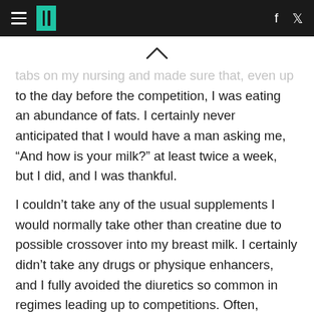HuffPost header with hamburger menu, logo, Facebook and Twitter icons
[Figure (other): Chevron/caret up symbol]
tabs on my nursing and made sure that, even up to the day before the competition, I was eating an abundance of fats. I certainly never anticipated that I would have a man asking me, “And how is your milk?” at least twice a week, but I did, and I was thankful.
I couldn’t take any of the usual supplements I would normally take other than creatine due to possible crossover into my breast milk. I certainly didn’t take any drugs or physique enhancers, and I fully avoided the diuretics so common in regimes leading up to competitions. Often,